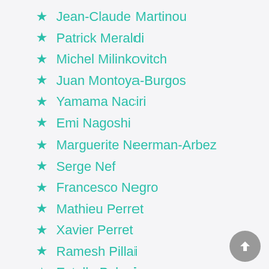Jean-Claude Martinou
Patrick Meraldi
Michel Milinkovitch
Juan Montoya-Burgos
Yamama Naciri
Emi Nagoshi
Marguerite Neerman-Arbez
Serge Nef
Francesco Negro
Mathieu Perret
Xavier Perret
Ramesh Pillai
Estella Poloni
Howard Riezman
Ivan Rodriguez
Ariel Ruiz i Altaba
Alicia Sanchez-Mazas